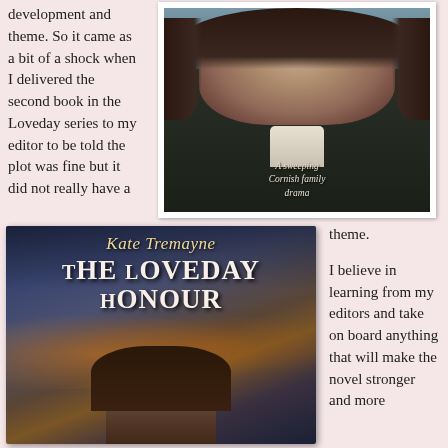development and theme. So it came as a bit of a shock when I delivered the second book in the Loveday series to my editor to be told the plot was fine but it did not really have a
[Figure (photo): Book cover showing a young woman in a dark cloak with text 'A sweeping Cornish family drama']
[Figure (photo): Book cover for 'The Loveday Honour' by Kate Tremayne, showing a woman with dark hair against a dramatic cloudy sky]
theme.

I believe in learning from my editors and take on board anything that will make the novel stronger and more